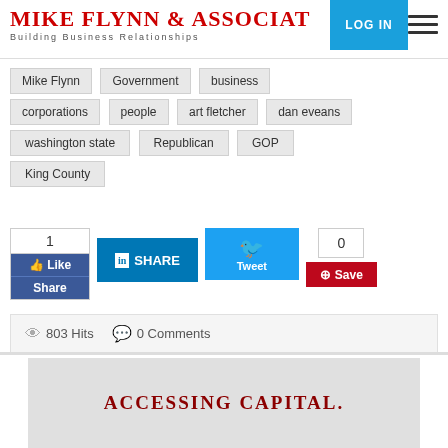MIKE FLYNN & ASSOCIATES — Building Business Relationships
Mike Flynn
Government
business
corporations
people
art fletcher
dan eveans
washington state
Republican
GOP
King County
1 Like Share | in SHARE | Tweet 0 | Save
803 Hits   0 Comments
[Figure (screenshot): Book cover showing 'ACCESSING CAPITAL' text on light gray background]